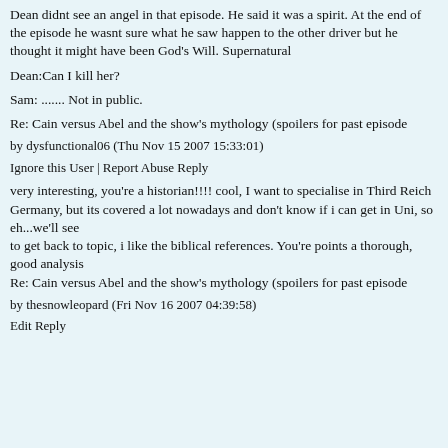Dean didnt see an angel in that episode. He said it was a spirit. At the end of the episode he wasnt sure what he saw happen to the other driver but he thought it might have been God's Will. Supernatural
Dean:Can I kill her?
Sam: ....... Not in public.
Re: Cain versus Abel and the show's mythology (spoilers for past episode
by dysfunctional06 (Thu Nov 15 2007 15:33:01)
Ignore this User | Report Abuse Reply
very interesting, you're a historian!!!! cool, I want to specialise in Third Reich Germany, but its covered a lot nowadays and don't know if i can get in Uni, so eh...we'll see
to get back to topic, i like the biblical references. You're points a thorough, good analysis
Re: Cain versus Abel and the show's mythology (spoilers for past episode
by thesnowleopard (Fri Nov 16 2007 04:39:58)
Edit Reply